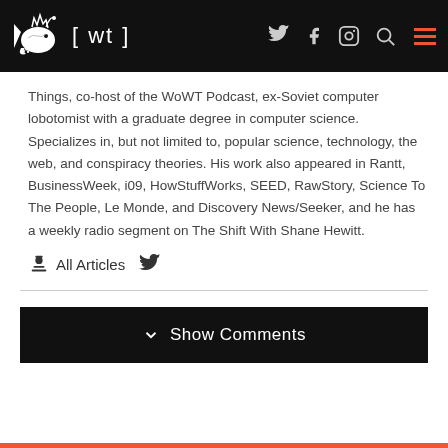[ wt ]
Things, co-host of the WoWT Podcast, ex-Soviet computer lobotomist with a graduate degree in computer science. Specializes in, but not limited to, popular science, technology, the web, and conspiracy theories. His work also appeared in Rantt, BusinessWeek, i09, HowStuffWorks, SEED, RawStory, Science To The People, Le Monde, and Discovery News/Seeker, and he has a weekly radio segment on The Shift With Shane Hewitt.
All Articles
Show Comments